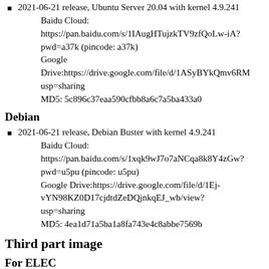2021-06-21 release, Ubuntu Server 20.04 with kernel 4.9.241
Baidu Cloud:
https://pan.baidu.com/s/1IAugHTujzkTV9zfQoLw-iA?pwd=a37k (pincode: a37k)
Google Drive:https://drive.google.com/file/d/1ASyBYkQmv6RM.../usp=sharing
MD5: 5c896c37eaa590cfbb8a6c7a5ba433a0
Debian
2021-06-21 release, Debian Buster with kernel 4.9.241
Baidu Cloud:
https://pan.baidu.com/s/1xqk9wJ7o7aNCqa8k8Y4zGw?pwd=u5pu (pincode: u5pu)
Google Drive:https://drive.google.com/file/d/1Ej-vYN98KZ0D17cjdtdZeDQjnkqEJ_wb/view?usp=sharing
MD5: 4ea1d71a5ba1a8fa743e4c8abbe7569b
Third part image
For ELEC